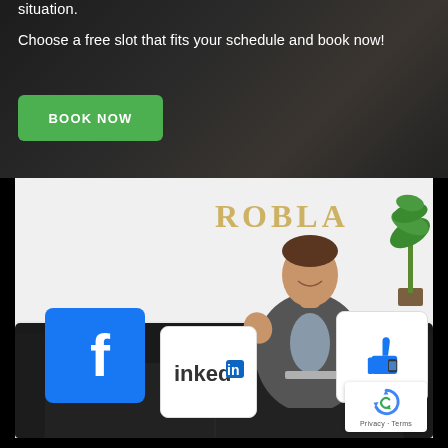situation.
Choose a free slot that fits your schedule and book now!
[Figure (other): Green 'BOOK NOW' button with rounded corners on dark background]
[Figure (photo): Man in suit sitting on black leather sofa with Facebook, LinkedIn, and thumbs-up shaped pillows, in an office with 'ROBLA' text on wall and plant in background. reCAPTCHA badge visible bottom right.]